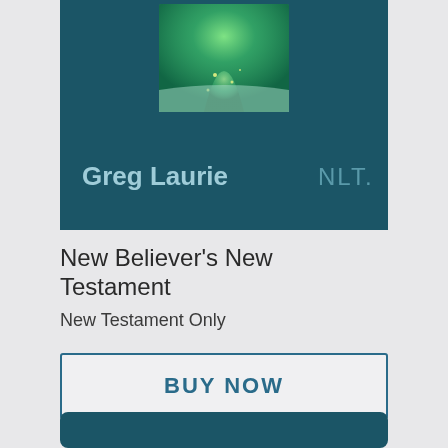[Figure (illustration): Book cover card with dark teal background. Shows a green glowing doorway/arch image at top center. Author name 'Greg Laurie' in light blue-gray bold text at bottom left, and 'NLT.' in muted teal at bottom right.]
New Believer's New Testament
New Testament Only
BUY NOW
[Figure (illustration): Bottom portion of another dark teal book card, partially visible at the bottom of the page.]